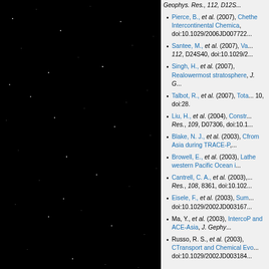[Figure (photo): Night sky photograph showing stars against a black background.]
Geophys. Res., 112, D12S...
Pierce, B., et al. (2007), Chemistry of the Intercontinental Chemical..., doi:10.1029/2006JD007722...
Santee, M., et al. (2007), Va..., 112, D24S40, doi:10.1029/2...
Singh, H., et al. (2007), Rea... lowermost stratosphere, J. G...
Talbot, R., et al. (2007), Tota... 10, doi:28.
Liu, H., et al. (2004), Constr... Res., 109, D07306, doi:10.1...
Blake, N. J., et al. (2003), C... from Asia during TRACE-P,...
Browell, E., et al. (2003), La... the western Pacific Ocean i...
Cantrell, C. A., et al. (2003),... Res., 108, 8361, doi:10.102...
Eisele, F., et al. (2003), Sum... doi:10.1029/2002JD003167...
Ma, Y., et al. (2003), Interco... P and ACE-Asia, J. Geoph...
Russo, R. S., et al. (2003), C... Transport and Chemical Evo... doi:10.1029/2002JD003184...